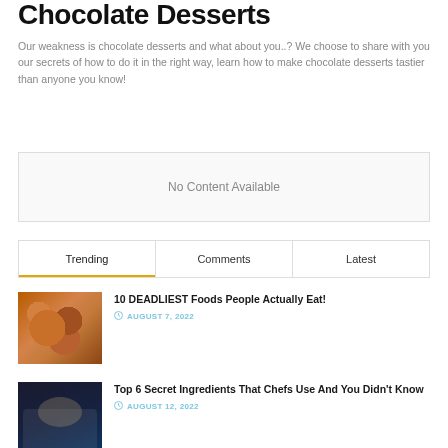Chocolate Desserts
Our weakness is chocolate desserts and what about you..? We choose to share with you our secrets of how to do it in the right way, learn how to make chocolate desserts tastier than anyone you know!
No Content Available
| Trending | Comments | Latest |
| --- | --- | --- |
[Figure (photo): Glazed donuts or ring-shaped pastries with brown/orange coloring]
10 DEADLIEST Foods People Actually Eat!
AUGUST 7, 2022
[Figure (photo): Dark image showing a chef or person working with cooking equipment]
Top 6 Secret Ingredients That Chefs Use And You Didn't Know
AUGUST 12, 2022